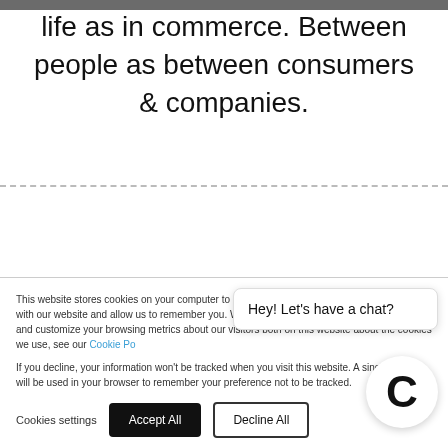life as in commerce. Between people as between consumers & companies.
This website stores cookies on your computer to collect information about how you interact with our website and allow us to remember you. We use this information in order to improve and customize your browsing metrics about our visitors both on this website about the cookies we use, see our Cookie Po...
If you decline, your information won't be tracked when you visit this website. A single cookie will be used in your browser to remember your preference not to be tracked.
Hey! Let's have a chat?